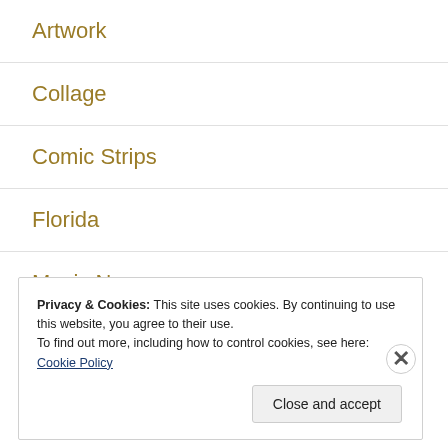Artwork
Collage
Comic Strips
Florida
Music News
Privacy & Cookies: This site uses cookies. By continuing to use this website, you agree to their use.
To find out more, including how to control cookies, see here: Cookie Policy
Close and accept